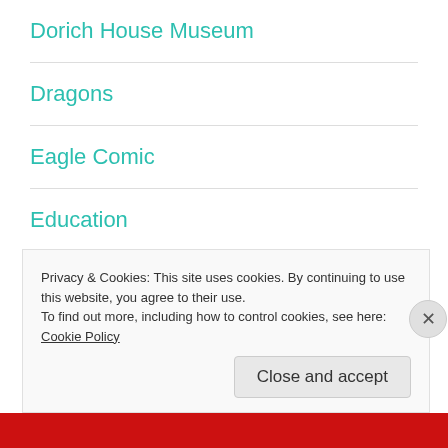Dorich House Museum
Dragons
Eagle Comic
Education
Egypt
Egypt Equine Aid
Privacy & Cookies: This site uses cookies. By continuing to use this website, you agree to their use.
To find out more, including how to control cookies, see here: Cookie Policy
Close and accept